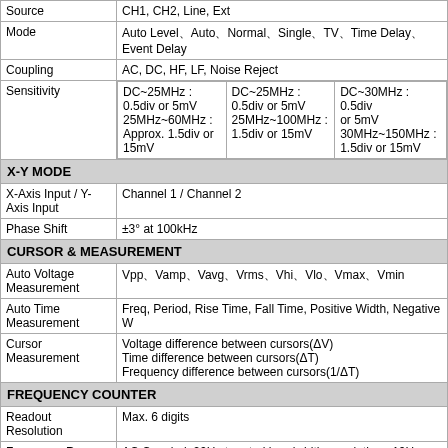| Parameter | Value |
| --- | --- |
| Source | CH1, CH2, Line, Ext |
| Mode | Auto Level、Auto、Normal、Single、TV、Time Delay、Event Delay |
| Coupling | AC, DC, HF, LF, Noise Reject |
| Sensitivity | DC~25MHz : 0.5div or 5mV
25MHz~60MHz : Approx. 1.5div or 15mV | DC~25MHz : 0.5div or 5mV
25MHz~100MHz : 1.5div or 15mV | DC~30MHz : 0.5div or 5mV
30MHz~150MHz : 1.5div or 15mV |
| X-Y MODE |  |
| X-Axis Input / Y-Axis Input | Channel 1 / Channel 2 |
| Phase Shift | ±3° at 100kHz |
| CURSOR & MEASUREMENT |  |
| Auto Voltage Measurement | Vpp、Vamp、Vavg、Vrms、Vhi、Vlo、Vmax、Vmin |
| Auto Time Measurement | Freq, Period, Rise Time, Fall Time, Positive Width, Negative W... |
| Cursor Measurement | Voltage difference between cursors(ΔV)
Time difference between cursors(ΔT)
Frequency difference between cursors(1/ΔT) |
| FREQUENCY COUNTER |  |
| Readout Resolution | Max. 6 digits |
| Frequency Range | AC Coupled, 20Hz to rated bandwidth; resolution : 10Hz |